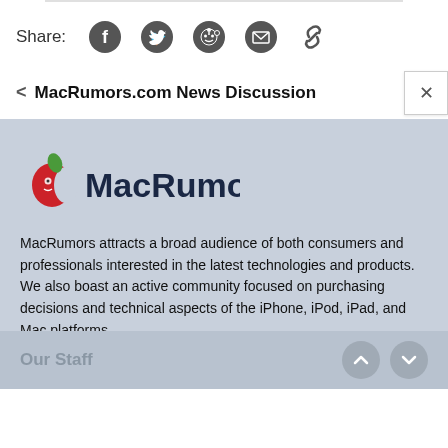Share:
[Figure (illustration): Share icons: Facebook, Twitter, Reddit, Email, Link]
< MacRumors.com News Discussion
[Figure (logo): MacRumors logo with red apple icon and dark blue MacRumors text]
MacRumors attracts a broad audience of both consumers and professionals interested in the latest technologies and products. We also boast an active community focused on purchasing decisions and technical aspects of the iPhone, iPod, iPad, and Mac platforms.
Our Staff